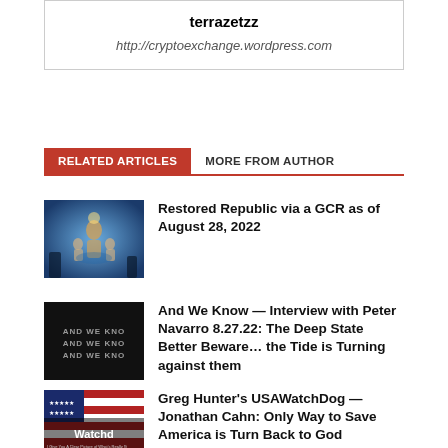terrazetzz
http://cryptoexchange.wordpress.com
RELATED ARTICLES   MORE FROM AUTHOR
Restored Republic via a GCR as of August 28, 2022
[Figure (photo): Dark blue fantasy/sci-fi image with figures]
And We Know — Interview with Peter Navarro 8.27.22: The Deep State Better Beware… the Tide is Turning against them
[Figure (photo): Black background with And We Know text logo]
Greg Hunter's USAWatchDog — Jonathan Cahn: Only Way to Save America is Turn Back to God
[Figure (photo): USAWatchdog logo with American flag background]